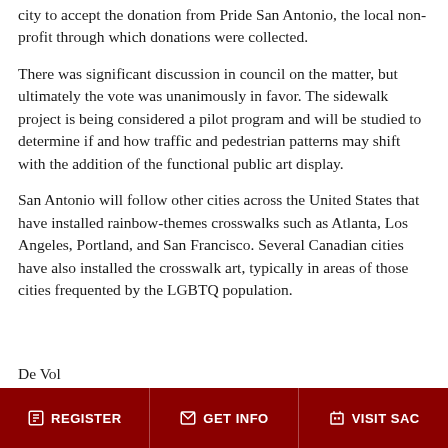city to accept the donation from Pride San Antonio, the local non-profit through which donations were collected.
There was significant discussion in council on the matter, but ultimately the vote was unanimously in favor. The sidewalk project is being considered a pilot program and will be studied to determine if and how traffic and pedestrian patterns may shift with the addition of the functional public art display.
San Antonio will follow other cities across the United States that have installed rainbow-themes crosswalks such as Atlanta, Los Angeles, Portland, and San Francisco. Several Canadian cities have also installed the crosswalk art, typically in areas of those cities frequented by the LGBTQ population.
REGISTER | GET INFO | VISIT SAC